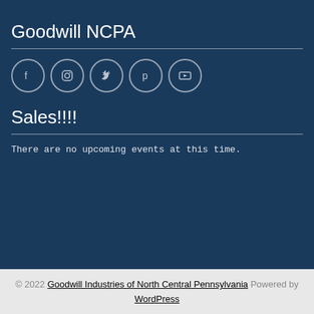Goodwill NCPA
[Figure (other): Row of 5 social media icon circles: Facebook, Instagram, Twitter, Pinterest, YouTube]
Sales!!!!
There are no upcoming events at this time.
© 2022 Goodwill Industries of North Central Pennsylvania Powered by WordPress